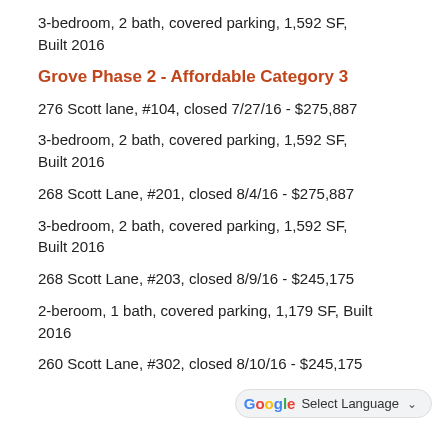3-bedroom, 2 bath, covered parking, 1,592 SF, Built 2016
Grove Phase 2 - Affordable Category 3
276 Scott lane, #104, closed 7/27/16 - $275,887
3-bedroom, 2 bath, covered parking, 1,592 SF, Built 2016
268 Scott Lane, #201, closed 8/4/16 - $275,887
3-bedroom, 2 bath, covered parking, 1,592 SF, Built 2016
268 Scott Lane, #203, closed 8/9/16 - $245,175
2-beroom, 1 bath, covered parking, 1,179 SF, Built 2016
260 Scott Lane, #302, closed 8/10/16 - $245,175